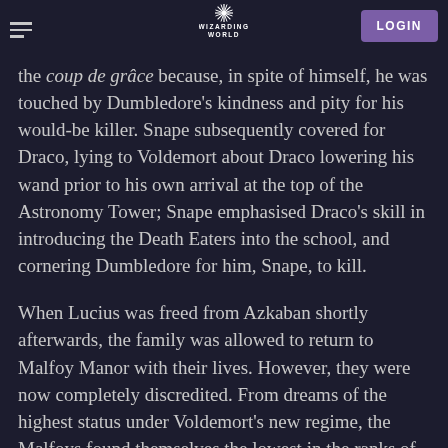Wizarding World header with hamburger menu, logo, and LOGIN button
the coup de grâce because, in spite of himself, he was touched by Dumbledore's kindness and pity for his would-be killer. Snape subsequently covered for Draco, lying to Voldemort about Draco lowering his wand prior to his own arrival at the top of the Astronomy Tower; Snape emphasised Draco's skill in introducing the Death Eaters into the school, and cornering Dumbledore for him, Snape, to kill.
When Lucius was freed from Azkaban shortly afterwards, the family was allowed to return to Malfoy Manor with their lives. However, they were now completely discredited. From dreams of the highest status under Voldemort's new regime, the Malfoys found themselves the lowest in the ranks of the Death Eaters; weaklings and failures, to whom Voldemort was henceforth derisive and contemptuous.
Draco's values were still conflicted, however,